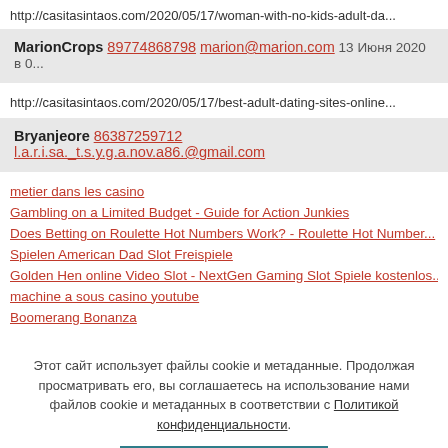http://casitasintaos.com/2020/05/17/woman-with-no-kids-adult-da...
MarionCrops 89774868798 marion@marion.com 13 Июня 2020 в 0...
http://casitasintaos.com/2020/05/17/best-adult-dating-sites-online...
Bryanjeore 86387259712 l.a.r.i.sa._t.s.y.g.a.nov.a86.@gmail.com ...
metier dans les casino
Gambling on a Limited Budget - Guide for Action Junkies
Does Betting on Roulette Hot Numbers Work? - Roulette Hot Number...
Spielen American Dad Slot Freispiele
Golden Hen online Video Slot - NextGen Gaming Slot Spiele kostenlos...
machine a sous casino youtube
Boomerang Bonanza
Этот сайт использует файлы cookie и метаданные. Продолжая просматривать его, вы соглашаетесь на использование нами файлов cookie и метаданных в соответствии с Политикой конфиденциальности.
Продолжить